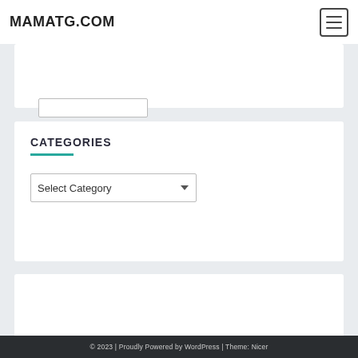MAMATG.COM
CATEGORIES
Select Category
© 2023 | Proudly Powered by WordPress | Theme: Nicer